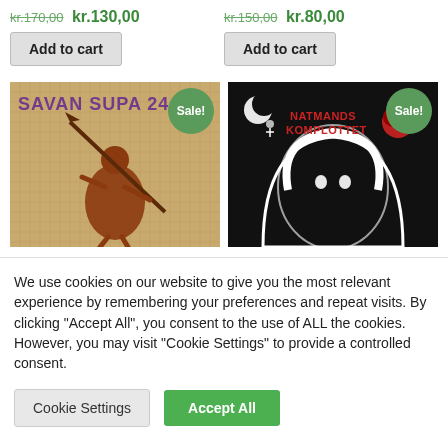kr.170,00 kr.130,00 | kr.150,00 kr.80,00
Add to cart | Add to cart
[Figure (photo): Album cover for 'Savan Supa 24' showing an illustrated warrior figure with a spear, warm orange/brown tones, with a green 'Sale!' badge]
[Figure (photo): Album cover for 'Natmands Komplottet' showing a black and white illustration of a figure with afro hair, red logo text, black background, with a green 'Sale!' badge]
We use cookies on our website to give you the most relevant experience by remembering your preferences and repeat visits. By clicking "Accept All", you consent to the use of ALL the cookies. However, you may visit "Cookie Settings" to provide a controlled consent.
Cookie Settings
Accept All